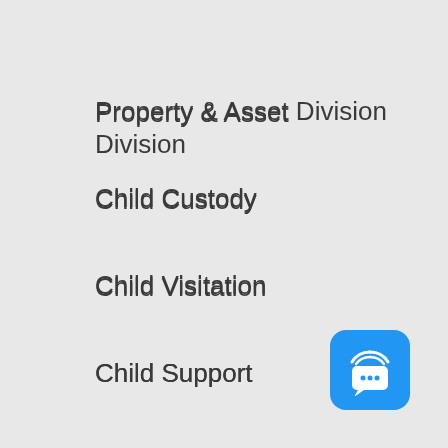Property & Asset Division
Child Custody
Child Visitation
Child Support
Spousal Support (Alimony)
Court Order Modification
Enforcement of Court Orders
[Figure (illustration): Blue chat/communication widget icon with wifi signal and speech bubble with ellipsis dots]